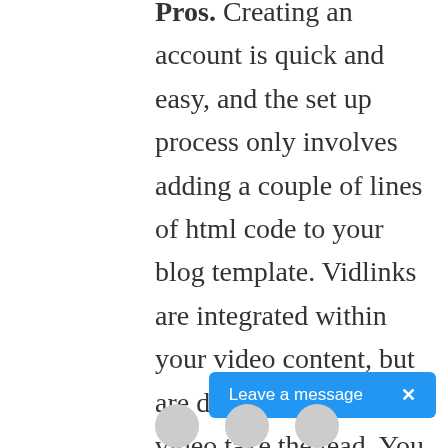Pros. Creating an account is quick and easy, and the set up process only involves adding a couple of lines of html code to your blog template. Vidlinks are integrated within your video content, but are designed to let the video take the lead. You don't compromise the look and feel of your blog.  Coull Vidlinkr can manage your videos' Vidlinks for you, or you can choose to select appropriate products for each video yourself. The threshold for payment is only $15/£10 too.